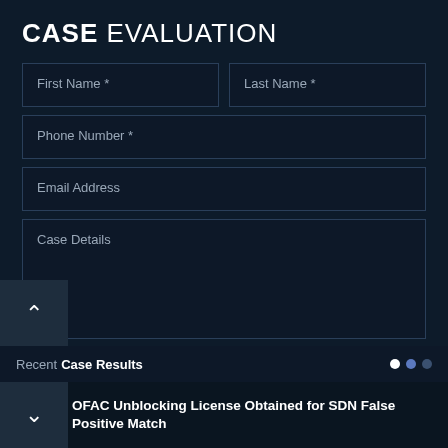CASE EVALUATION
[Figure (screenshot): Web form with fields: First Name *, Last Name *, Phone Number *, Email Address, Case Details textarea, and a SEND MESSAGE button with envelope icon]
Recent Case Results
OFAC Unblocking License Obtained for SDN False Positive Match